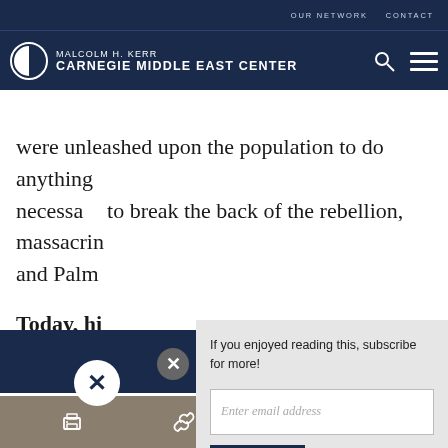OUR NETWORK   CONTACT
[Figure (logo): Malcolm H. Kerr Carnegie Middle East Center logo with search and menu icons]
were unleashed upon the population to do anything necessary to break the back of the rebellion, massacrin... and Palm...
Today, hi...
If you enjoyed reading this, subscribe for more!
Enter email address
Submit
Print | Share icons: link, Facebook, Twitter, WhatsApp, Messenger, LinkedIn